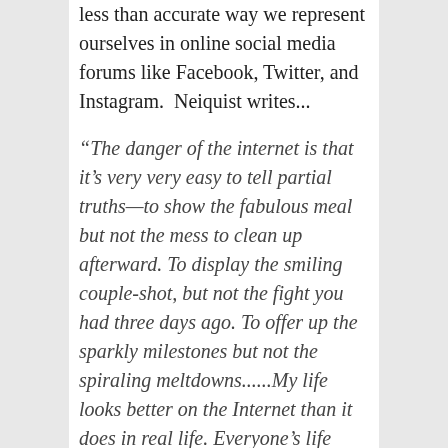less than accurate way we represent ourselves in online social media forums like Facebook, Twitter, and Instagram.  Neiquist writes...
“The danger of the internet is that it’s very very easy to tell partial truths—to show the fabulous meal but not the mess to clean up afterward. To display the smiling couple-shot, but not the fight you had three days ago. To offer up the sparkly milestones but not the spiraling meltdowns......My life looks better on the Internet than it does in real life. Everyone’s life looks better on the internet than it